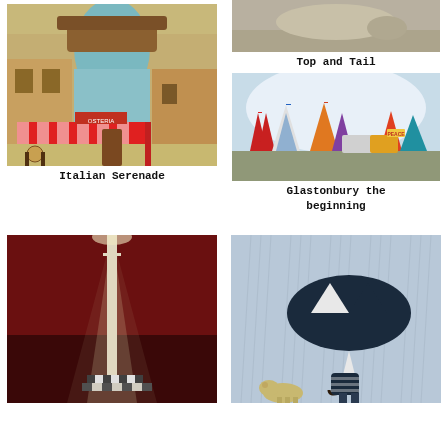[Figure (illustration): Watercolor illustration of a quirky Italian street with a bistro/osteria building topped by a large blue teapot-like structure, red and white striped awning, outdoor cafe seating, warm earthy tones.]
Italian Serenade
[Figure (illustration): Top portion of an animal illustration, cropped showing just the top and tail region, muted earthy tones.]
Top and Tail
[Figure (illustration): Watercolor illustration of Glastonbury festival scene with colorful striped tents/tepees, caravans, vehicles, cloudy sky backdrop, festive atmosphere.]
Glastonbury the beginning
[Figure (illustration): Dark dramatic illustration of a tall church spire or tower illuminated by bright spotlights against a deep red/brown background, striped pattern at base.]
[Figure (illustration): Illustration of a figure carrying a large dark umbrella in the rain, with a small dog nearby, light blue-grey rainy background.]